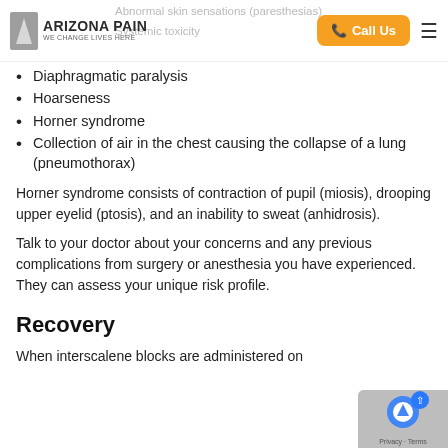Arizona Pain – We Change Lives Here | Call Us
Abnormal skin sensations (paresthesias)
Systemic toxicity
Diaphragmatic paralysis
Hoarseness
Horner syndrome
Collection of air in the chest causing the collapse of a lung (pneumothorax)
Horner syndrome consists of contraction of pupil (miosis), drooping upper eyelid (ptosis), and an inability to sweat (anhidrosis).
Talk to your doctor about your concerns and any previous complications from surgery or anesthesia you have experienced. They can assess your unique risk profile.
Recovery
When interscalene blocks are administered on...